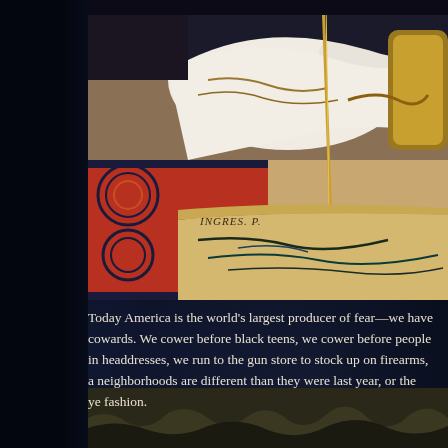[Figure (photo): Close-up of a classical painting showing ornate royal/imperial regalia — white fabric, gold embroidery, a scepter, decorative carpet with circular motifs in red and black, and a large scroll or map in the lower portion. Text 'INGRES. P.' visible in lower left of painting.]
Today America is the world's largest producer of fear—we have cowards. We cower before black teens, we cower before people in headdresses, we run to the gun store to stock up on firearms, a neighborhoods are different than they were last year, or the ye fashion.
[Figure (photo): Partial bottom image strip visible at the very bottom of the page.]